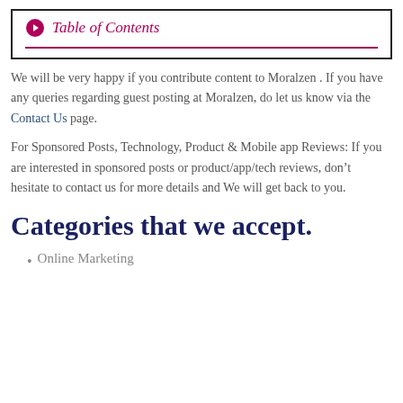Table of Contents
We will be very happy if you contribute content to Moralzen . If you have any queries regarding guest posting at Moralzen, do let us know via the Contact Us page.
For Sponsored Posts, Technology, Product & Mobile app Reviews: If you are interested in sponsored posts or product/app/tech reviews, don’t hesitate to contact us for more details and We will get back to you.
Categories that we accept.
Online Marketing